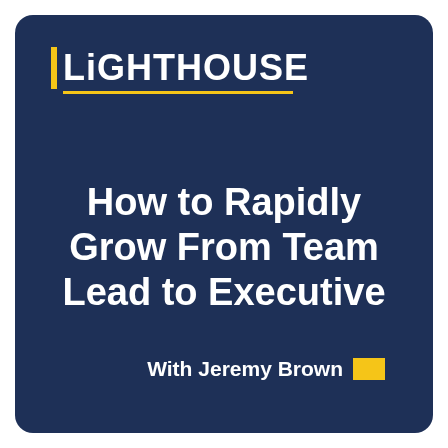[Figure (logo): Lighthouse brand logo with yellow vertical bar accent and yellow underline on dark navy background]
How to Rapidly Grow From Team Lead to Executive
With Jeremy Brown